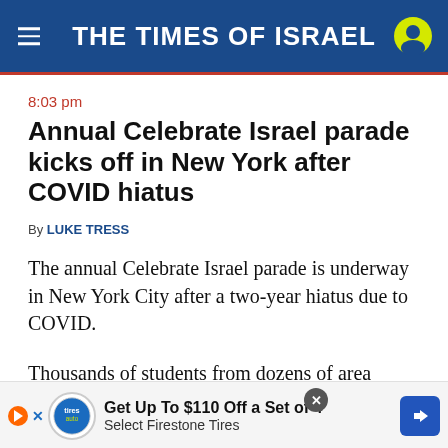THE TIMES OF ISRAEL
8:03 pm
Annual Celebrate Israel parade kicks off in New York after COVID hiatus
By LUKE TRESS
The annual Celebrate Israel parade is underway in New York City after a two-year hiatus due to COVID.
Thousands of students from dozens of area yeshivas and representatives from a spectrum of Jewish groups march through midtown Manhattan in a major show of solidarity for New York
Get Up To $110 Off a Set of 4 Select Firestone Tires